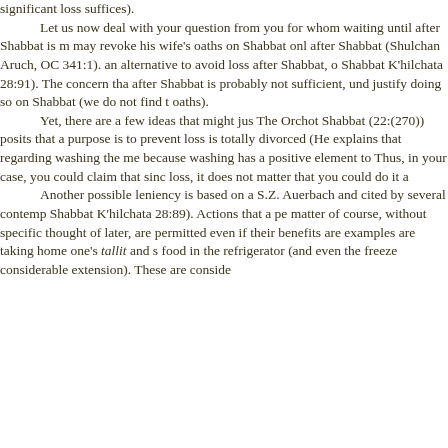significant loss suffices).

      Let us now deal with your question from you for whom waiting until after Shabbat is m may revoke his wife's oaths on Shabbat onl after Shabbat (Shulchan Aruch, OC 341:1). an alternative to avoid loss after Shabbat, o Shabbat K'hilchata 28:91). The concern tha after Shabbat is probably not sufficient, und justify doing so on Shabbat (we do not find t oaths).

      Yet, there are a few ideas that might jus The Orchot Shabbat (22:(270)) posits that a purpose is to prevent loss is totally divorced (He explains that regarding washing the me because washing has a positive element to Thus, in your case, you could claim that sinc loss, it does not matter that you could do it a

      Another possible leniency is based on a S.Z. Auerbach and cited by several contemp Shabbat K'hilchata 28:89). Actions that a pe matter of course, without specific thought of later, are permitted even if their benefits are examples are taking home one's tallit and s food in the refrigerator (and even the freeze considerable extension). These are conside